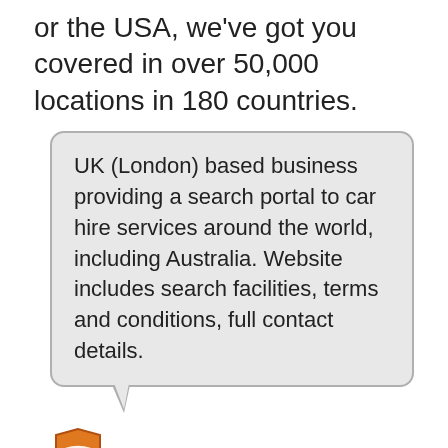or the USA, we've got you covered in over 50,000 locations in 180 countries.
UK (London) based business providing a search portal to car hire services around the world, including Australia. Website includes search facilities, terms and conditions, full contact details.
[Figure (logo): Orange shield/badge icon with white open book, representing auslistings.org review logo]
auslistings.org review
View Company Profile »
Cyber Security Consultants | IT Services | DC Encompass